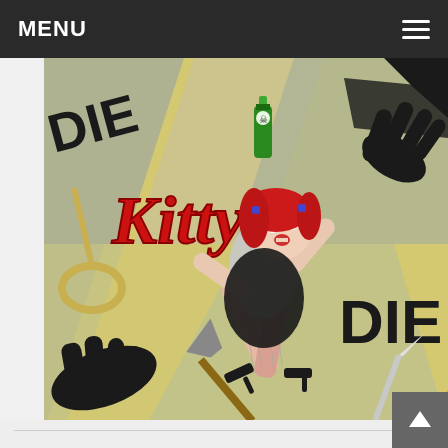MENU
[Figure (illustration): Comic book cover art for 'Die Kitty Die!' showing an animated woman with red hair being attacked, surrounded by hands and weapons. 'Kitty' text in red comic lettering on yellow/grey background with 'DIE' text repeated around her.]
DIE KITTY DIE! TAKING A LOOK AT MY NEW FAVORITE COMIC!
I had the chance to speak with Fernando Ruiz about his latest comic book Die Kitty Die! The new